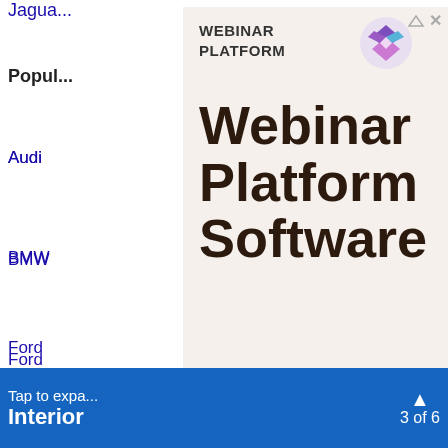Jagua...
Popul...
Audi
BMW
Ford
Jagua...
Honda
Merce...
Volksw...
[Figure (screenshot): Advertisement overlay for 'Webinar Platform Software' with logo, headline text, and subtext reading: Find "Free Webinar Platform" Results From TOP Web Search Engines. Background is beige/cream colored.]
Tap to expand  Interior  ▲ 3 of 6